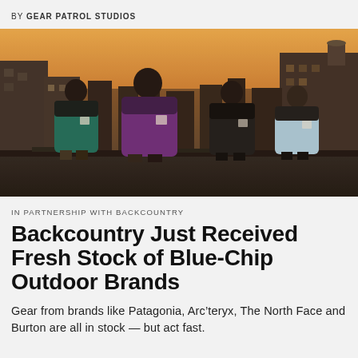BY GEAR PATROL STUDIOS
[Figure (photo): Four people standing on a rooftop at dusk/dawn wearing colorful North Face puffer jackets (green, purple, black, light blue), viewed from behind, with city buildings and a warm sky in the background.]
IN PARTNERSHIP WITH BACKCOUNTRY
Backcountry Just Received Fresh Stock of Blue-Chip Outdoor Brands
Gear from brands like Patagonia, Arc’teryx, The North Face and Burton are all in stock — but act fast.